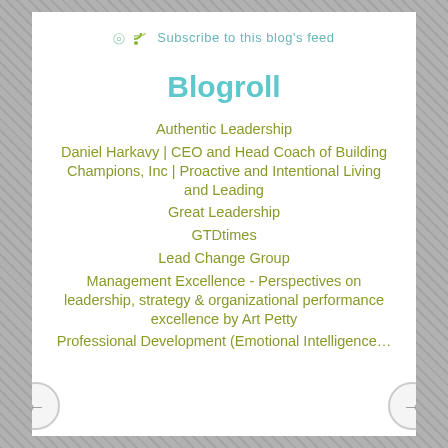Subscribe to this blog's feed
Blogroll
Authentic Leadership
Daniel Harkavy | CEO and Head Coach of Building Champions, Inc | Proactive and Intentional Living and Leading
Great Leadership
GTDtimes
Lead Change Group
Management Excellence - Perspectives on leadership, strategy & organizational performance excellence by Art Petty
Professional Development (Emotional Intelligence...